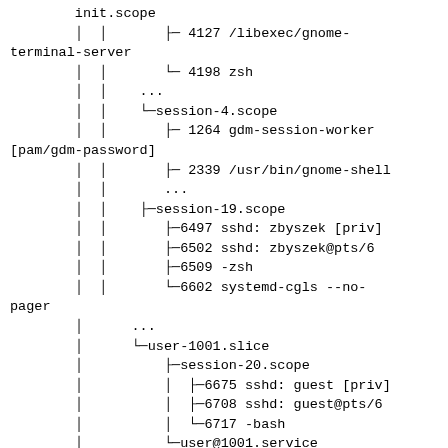init.scope
| | |         ├─ 4127 /libexec/gnome-terminal-server
| | |         └─ 4198 zsh
| |     ...
| |     └─session-4.scope
| |         ├─ 1264 gdm-session-worker [pam/gdm-password]
| |         ├─ 2339 /usr/bin/gnome-shell
| |         ...
| |     ├─session-19.scope
| |         ├─6497 sshd: zbyszek [priv]
| |         ├─6502 sshd: zbyszek@pts/6
| |         ├─6509 -zsh
| |         └─6602 systemd-cgls --no-pager
|     ...
|     └─user-1001.slice
|         ├─session-20.scope
|         |  ├─6675 sshd: guest [priv]
|         |  ├─6708 sshd: guest@pts/6
|         |  └─6717 -bash
|         └─user@1001.service